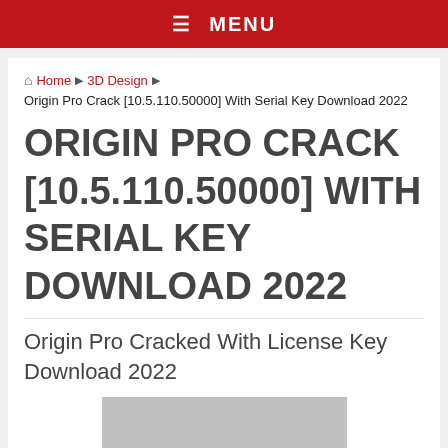≡ MENU
🏠 Home ▶ 3D Design ▶ Origin Pro Crack [10.5.110.50000] With Serial Key Download 2022
ORIGIN PRO CRACK [10.5.110.50000] WITH SERIAL KEY DOWNLOAD 2022
Origin Pro Cracked With License Key Download 2022
[Figure (photo): Gray image placeholder for Origin Pro software screenshot]